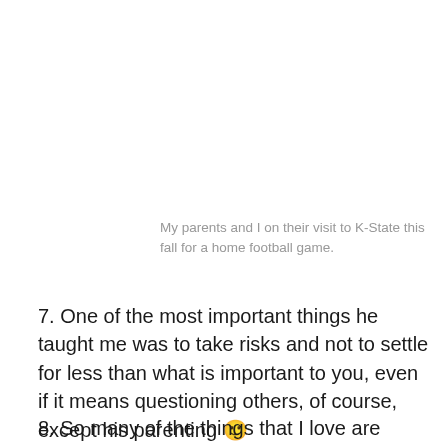My parents and I on their visit to K-State this fall for a home football game.
7. One of the most important things he taught me was to take risks and not to settle for less than what is important to you, even if it means questioning others, of course, except his parenting 🙂
8. So many of the things that I love are because of him. Basketball, western movies, taste in music, coffee,